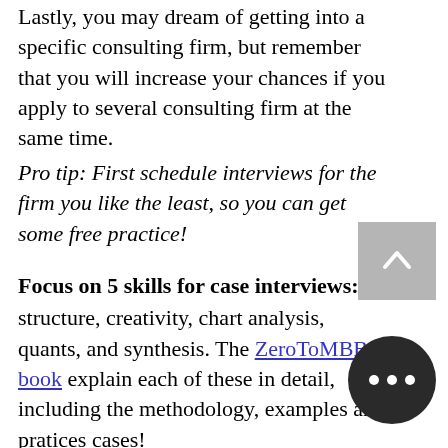Lastly, you may dream of getting into a specific consulting firm, but remember that you will increase your chances if you apply to several consulting firm at the same time.
Pro tip: First schedule interviews for the firm you like the least, so you can get some free practice!
Focus on 5 skills for case interviews:
structure, creativity, chart analysis, quants, and synthesis. The ZeroToMBB book explain each of these in detail, including the methodology, examples and pratices cases!
Use your brain, not your memory!
I have come across candidates who joined a consulting club, done over 100